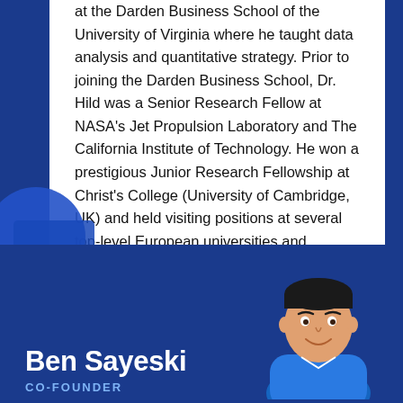at the Darden Business School of the University of Virginia where he taught data analysis and quantitative strategy. Prior to joining the Darden Business School, Dr. Hild was a Senior Research Fellow at NASA's Jet Propulsion Laboratory and The California Institute of Technology. He won a prestigious Junior Research Fellowship at Christ's College (University of Cambridge, UK) and held visiting positions at several top-level European universities and research institutes. Dr. Hild was a graduate in mathematics and philosophy at the University of Göttingen and received his doctorate from Oxford University.
Ben Sayeski
CO-FOUNDER
[Figure (photo): Headshot illustration of Ben Sayeski, a man with dark hair, smiling, wearing a blue shirt]